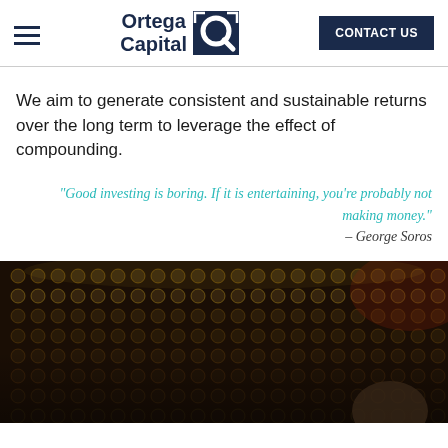Ortega Capital — CONTACT US
We aim to generate consistent and sustainable returns over the long term to leverage the effect of compounding.
“Good investing is boring. If it is entertaining, you’re probably not making money.” – George Soros
[Figure (photo): Dark photo of a wine cellar with rows of wine bottles stacked on racks and a person partially visible in the foreground.]